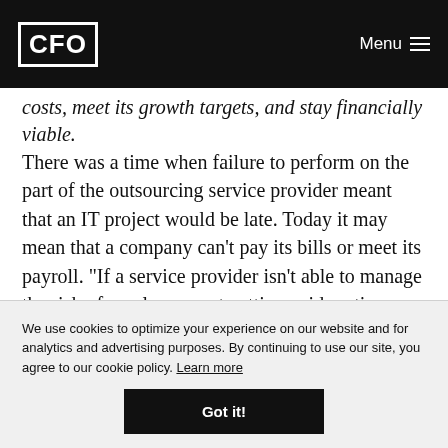CFO | Menu
costs, meet its growth targets, and stay financially viable.
There was a time when failure to perform on the part of the outsourcing service provider meant that an IT project would be late. Today it may mean that a company can’t pay its bills or meet its payroll. “If a service provider isn’t able to manage the risk of employees not getting paid on time, that’s a business risk most companies can’t
We use cookies to optimize your experience on our website and for analytics and advertising purposes. By continuing to use our site, you agree to our cookie policy. Learn more
Got it!